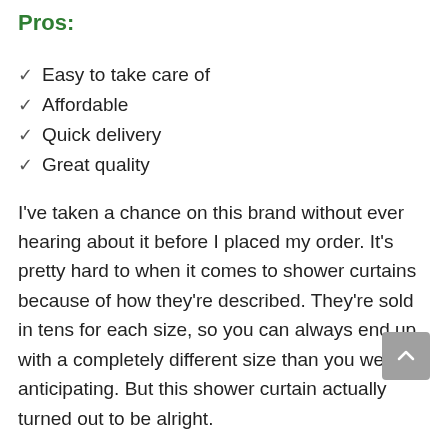Pros:
Easy to take care of
Affordable
Quick delivery
Great quality
I've taken a chance on this brand without ever hearing about it before I placed my order. It's pretty hard to when it comes to shower curtains because of how they're described. They're sold in tens for each size, so you can always end up with a completely different size than you were anticipating. But this shower curtain actually turned out to be alright.
It's very apparently made of polyester which